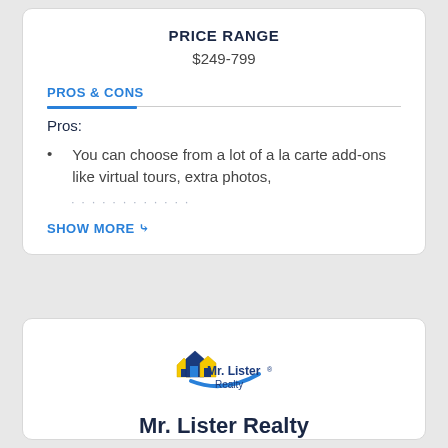PRICE RANGE
$249-799
PROS & CONS
Pros:
You can choose from a lot of a la carte add-ons like virtual tours, extra photos,
SHOW MORE
[Figure (logo): Mr. Lister Realty logo with house icons and blue swoosh]
Mr. Lister Realty